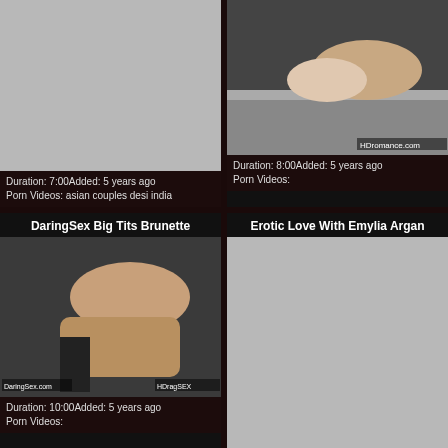[Figure (photo): Gray placeholder thumbnail for video]
Duration: 7:00Added: 5 years ago
Porn Videos: asian couples desi india
[Figure (photo): Video thumbnail showing couple on bed, HDromance.com watermark]
Duration: 8:00Added: 5 years ago
Porn Videos:
DaringSex Big Tits Brunette
[Figure (photo): Video thumbnail from DaringSex.com showing brunette woman]
Duration: 10:00Added: 5 years ago
Porn Videos:
Erotic Love With Emylia Argan
[Figure (photo): Gray placeholder thumbnail for Erotic Love With Emylia Argan video]